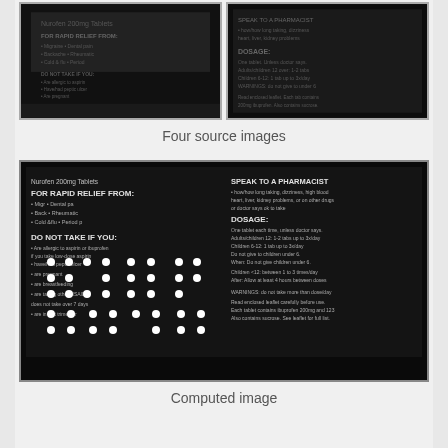[Figure (photo): Four dark grayscale source images of a Nurofen 200mg tablet packaging with braille dots and printed text, shown as two thumbnails in a row]
Four source images
[Figure (photo): Computed image showing a dark enhanced/combined image of the Nurofen 200mg tablet packaging with visible braille dots as white circles and text reading FOR RAPID RELIEF FROM, DO NOT TAKE IF YOU, SPEAK TO A PHARMACIST, DOSAGE, computed from the four source images]
Computed image